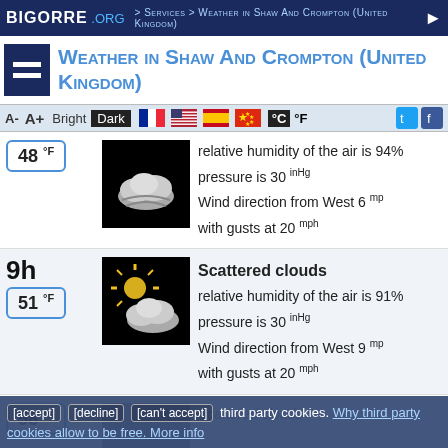BIGORRE .ORG > Services > Weather in Shaw And Crompton (United Kingdom)
Weather in Shaw And Crompton (United Kingdom)
A-  A+  Bright  Dark  °C  °F
48 °F
relative humidity of the air is 94%
pressure is 30 inHg
Wind direction from West 6 mp with gusts at 20 mph
9h
51 °F
Scattered clouds
relative humidity of the air is 91%
pressure is 30 inHg
Wind direction from West 9 mp with gusts at 20 mph
58 °F
Scattered clouds
relative humidity of the air is 65%
[accept] [decline] [can't accept] third party cookies. Why third party cookies allow to be free. More info